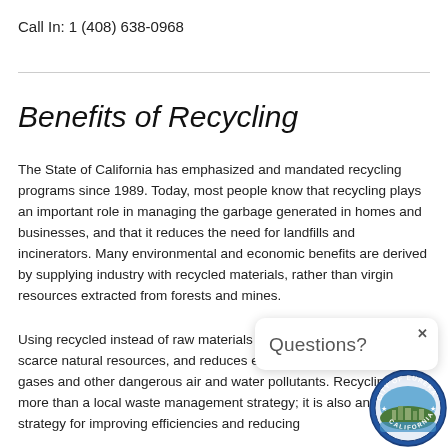Call In: 1 (408) 638-0968
Benefits of Recycling
The State of California has emphasized and mandated recycling programs since 1989. Today, most people know that recycling plays an important role in managing the garbage generated in homes and businesses, and that it reduces the need for landfills and incinerators. Many environmental and economic benefits are derived by supplying industry with recycled materials, rather than virgin resources extracted from forests and mines.
Using recycled instead of raw materials saves energy, conserves scarce natural resources, and reduces emissions of greenhouse gases and other dangerous air and water pollutants. Recycling is far more than a local waste management strategy; it is also an important strategy for improving efficiencies and reducing
[Figure (other): Popup overlay with close button (×) and text 'Questions?']
[Figure (logo): City of Eureka, California official seal/logo]